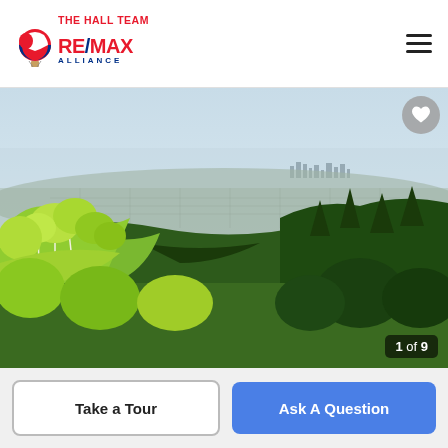THE HALL TEAM RE/MAX ALLIANCE
[Figure (photo): Scenic mountain view looking east over forest and city skyline in the distance, with green aspen and pine trees in the foreground and hazy plains and Denver skyline visible in the background. Image counter shows 1 of 9 with a heart/favorite icon.]
Take a Tour
Ask A Question